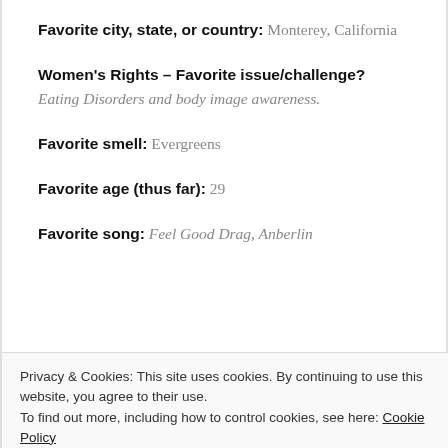Favorite city, state, or country: Monterey, California
Women's Rights – Favorite issue/challenge? Eating Disorders and body image awareness.
Favorite smell: Evergreens
Favorite age (thus far): 29
Favorite song: Feel Good Drag, Anberlin
Privacy & Cookies: This site uses cookies. By continuing to use this website, you agree to their use. To find out more, including how to control cookies, see here: Cookie Policy
Favorite celeb crush: I'm straight as a board but still: